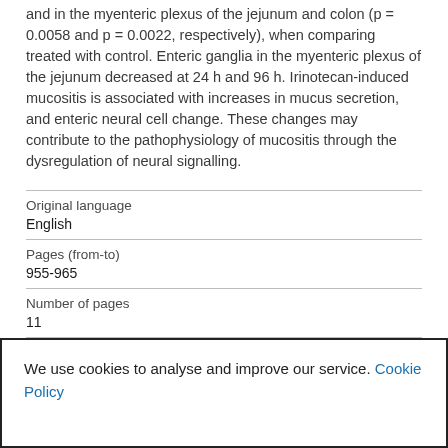and in the myenteric plexus of the jejunum and colon (p = 0.0058 and p = 0.0022, respectively), when comparing treated with control. Enteric ganglia in the myenteric plexus of the jejunum decreased at 24 h and 96 h. Irinotecan-induced mucositis is associated with increases in mucus secretion, and enteric neural cell change. These changes may contribute to the pathophysiology of mucositis through the dysregulation of neural signalling.
| Field | Value |
| --- | --- |
| Original language | English |
| Pages (from-to) | 955-965 |
| Number of pages | 11 |
We use cookies to analyse and improve our service. Cookie Policy